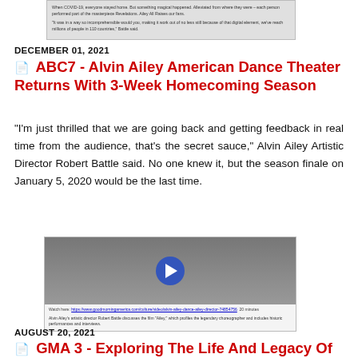[Figure (screenshot): Small cropped screenshot of a webpage article with text about COVID-19 performances and digital outreach.]
DECEMBER 01, 2021
ABC7 - Alvin Ailey American Dance Theater Returns With 3-Week Homecoming Season
"I'm just thrilled that we are going back and getting feedback in real time from the audience, that's the secret sauce," Alvin Ailey Artistic Director Robert Battle said. No one knew it, but the season finale on January 5, 2020 would be the last time.
[Figure (screenshot): Video thumbnail showing group of dancers dressed in white with a play button overlay. Caption includes a link and description about Alvin Ailey's artistic director Robert Battle discussing the film 'Ailey'.]
AUGUST 20, 2021
GMA 3 - Exploring The Life And Legacy Of Alvin Ailey